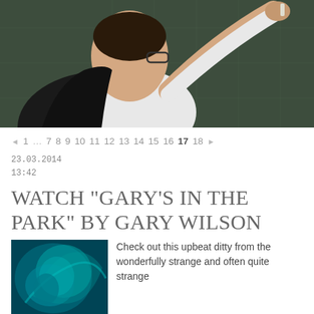[Figure (photo): Child wearing glasses writing on a dark chalkboard with grid lines, viewed from behind, wearing a white shirt and dark vest]
◄ 1 … 7 8 9 10 11 12 13 14 15 16 17 18 ►
23.03.2014
13:42
WATCH "GARY'S IN THE PARK" BY GARY WILSON
[Figure (photo): Abstract teal/cyan colored artistic image, appears to be a music-related thumbnail]
Check out this upbeat ditty from the wonderfully strange and often quite strange